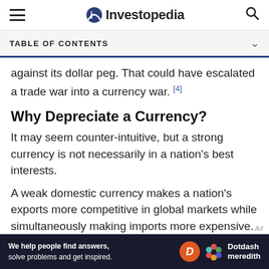Investopedia
TABLE OF CONTENTS
against its dollar peg. That could have escalated a trade war into a currency war. [4]
Why Depreciate a Currency?
It may seem counter-intuitive, but a strong currency is not necessarily in a nation's best interests.
A weak domestic currency makes a nation's exports more competitive in global markets while simultaneously making imports more expensive. Higher export volumes spur economic growth, while
[Figure (other): Dotdash Meredith advertisement banner with text 'We help people find answers, solve problems and get inspired.']